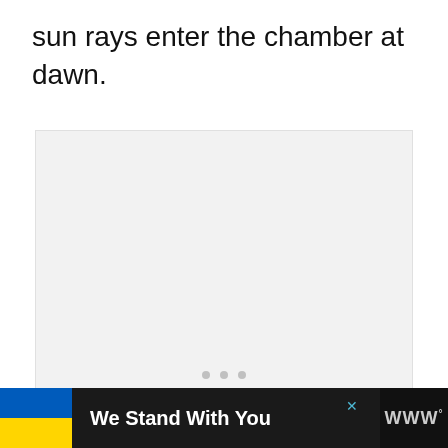sun rays enter the chamber at dawn.
[Figure (photo): A large light gray image placeholder area with three small gray dots at the bottom center, indicating a slideshow or loading state.]
We Stand With You [advertisement banner with Ukrainian flag colors and media logo]